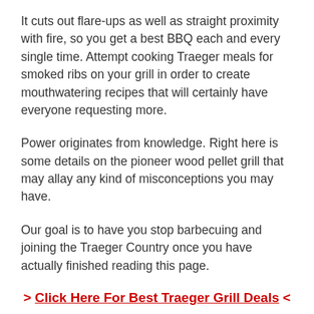It cuts out flare-ups as well as straight proximity with fire, so you get a best BBQ each and every single time. Attempt cooking Traeger meals for smoked ribs on your grill in order to create mouthwatering recipes that will certainly have everyone requesting more.
Power originates from knowledge. Right here is some details on the pioneer wood pellet grill that may allay any kind of misconceptions you may have.
Our goal is to have you stop barbecuing and joining the Traeger Country once you have actually finished reading this page.
> Click Here For Best Traeger Grill Deals <